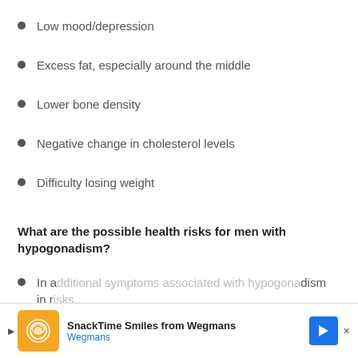Low mood/depression
Excess fat, especially around the middle
Lower bone density
Negative change in cholesterol levels
Difficulty losing weight
What are the possible health risks for men with hypogonadism?
In addition to symptoms of hypogonadism in r...dism in r...